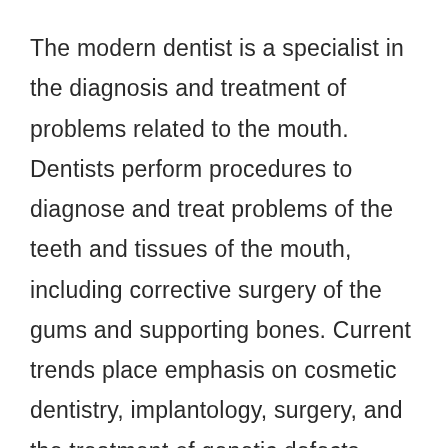The modern dentist is a specialist in the diagnosis and treatment of problems related to the mouth. Dentists perform procedures to diagnose and treat problems of the teeth and tissues of the mouth, including corrective surgery of the gums and supporting bones. Current trends place emphasis on cosmetic dentistry, implantology, surgery, and the treatment of genetic defects. Psychological and medical implications make dentistry a significant contributor to the general health of the population. There are eight recognized specialties, requiring from one to four years of post-doctoral training. The specialties are: dental public health, endodontics, oral pathology, oral surgery, orthodontics, pediatrics